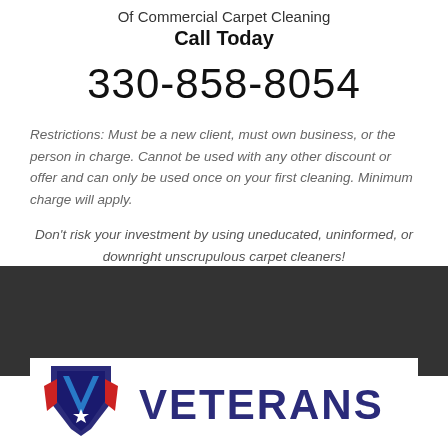Of Commercial Carpet Cleaning
Call Today
330-858-8054
Restrictions: Must be a new client, must own business, or the person in charge. Cannot be used with any other discount or offer and can only be used once on your first cleaning. Minimum charge will apply.
Don't risk your investment by using uneducated, uninformed, or downright unscrupulous carpet cleaners!
[Figure (logo): Veterans logo with shield and V emblem, text reading VETERANS]